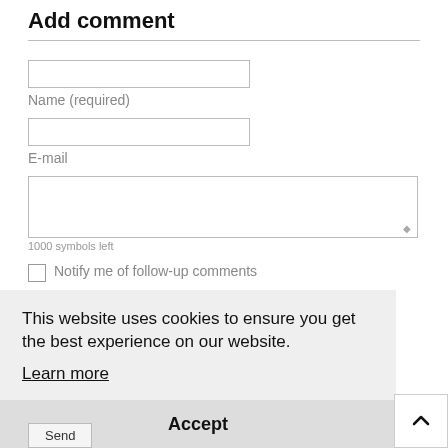Add comment
Name (required)
E-mail
1000 symbols left
Notify me of follow-up comments
This website uses cookies to ensure you get the best experience on our website.
Learn more
Accept
Send